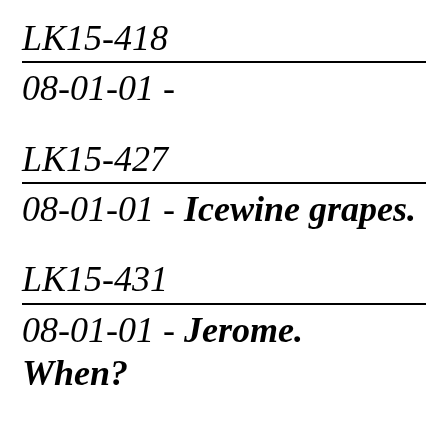LK15-418
08-01-01 -
LK15-427
08-01-01 - Icewine grapes.
LK15-431
08-01-01 - Jerome. When?